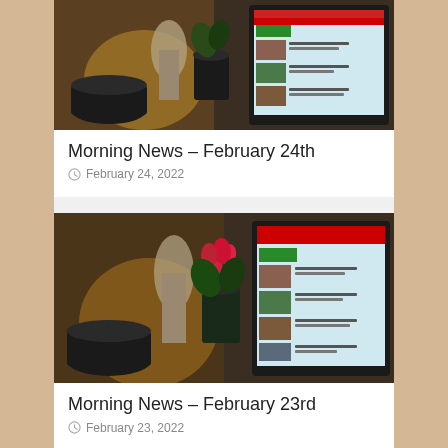[Figure (photo): Kitchen scene with coffee mug, plant in dark pot, and laptop showing a news website with red header]
Morning News – February 24th
February 24, 2022
[Figure (photo): Similar kitchen scene with red cyclamen flower in dark pot, silver vase, coffee mug, and laptop showing news website]
Morning News – February 23rd
February 23, 2022
[Figure (photo): Partial view of similar kitchen scene, cropped at bottom of page]